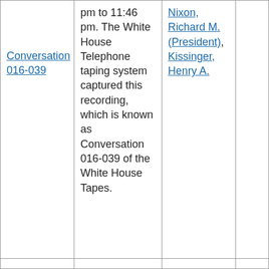| Conversation 016-039 | pm to 11:46 pm. The White House Telephone taping system captured this recording, which is known as Conversation 016-039 of the White House Tapes. | Nixon, Richard M. (President), Kissinger, Henry A. |  |